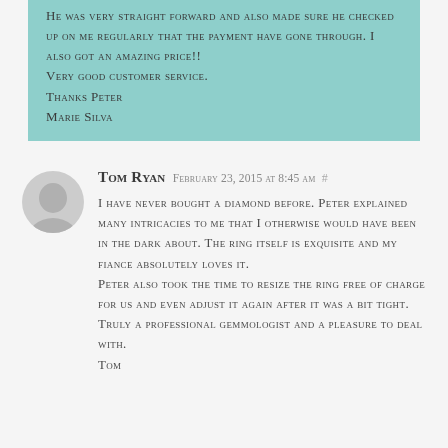He was very straight forward and also made sure he checked up on me regularly that the payment have gone through. I also got an amazing price!! Very good customer service. Thanks Peter Marie Silva
Tom Ryan February 23, 2015 at 8:45 am #
I have never bought a diamond before. Peter explained many intricacies to me that I otherwise would have been in the dark about. The ring itself is exquisite and my fiance absolutely loves it. Peter also took the time to resize the ring free of charge for us and even adjust it again after it was a bit tight. Truly a professional gemmologist and a pleasure to deal with. Tom